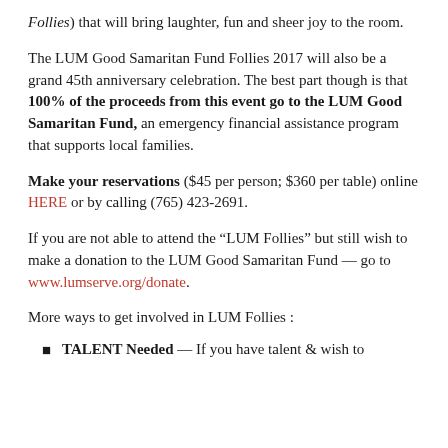Follies) that will bring laughter, fun and sheer joy to the room.
The LUM Good Samaritan Fund Follies 2017 will also be a grand 45th anniversary celebration. The best part though is that 100% of the proceeds from this event go to the LUM Good Samaritan Fund, an emergency financial assistance program that supports local families.
Make your reservations ($45 per person; $360 per table) online HERE or by calling (765) 423-2691.
If you are not able to attend the “LUM Follies” but still wish to make a donation to the LUM Good Samaritan Fund — go to www.lumserve.org/donate.
More ways to get involved in LUM Follies :
TALENT Needed — If you have talent & wish to